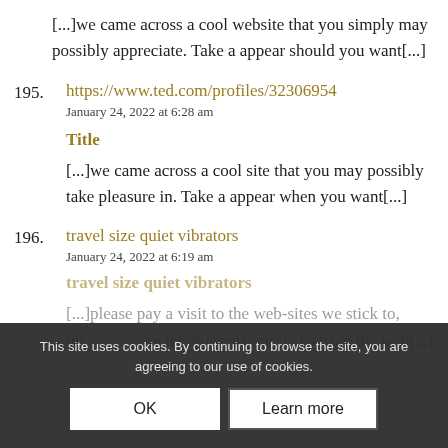[...]we came across a cool website that you simply may possibly appreciate. Take a appear should you want[...]
195. https://www.ted.com/profiles/32306954
January 24, 2022 at 6:28 am

Title

[...]we came across a cool site that you may possibly take pleasure in. Take a appear when you want[...]
196. travel size quiet vibrators
January 24, 2022 at 6:19 am

travel size quiet vibrators

[...]please pay a visit to the web-sites we stick to, including this one, because it represents our picks from the web[...]
This site uses cookies. By continuing to browse the site, you are agreeing to our use of cookies.